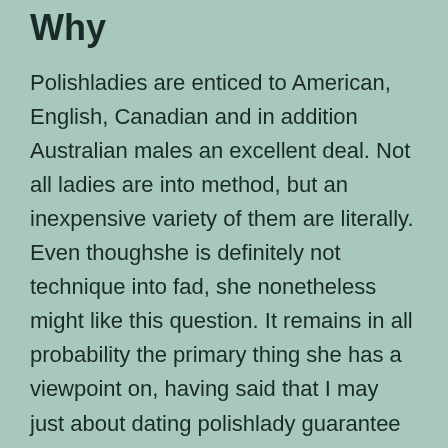Why
Polishladies are enticed to American, English, Canadian and in addition Australian males an excellent deal. Not all ladies are into method, but an inexpensive variety of them are literally. Even thoughshe is definitely not technique into fad, she nonetheless might like this question. It remains in all probability the primary thing she has a viewpoint on, having said that I may just about dating polishlady guarantee no individual has really ever before asked her. To improve the dialogue, you will maybe wish to ask them about if totally totally different interval have